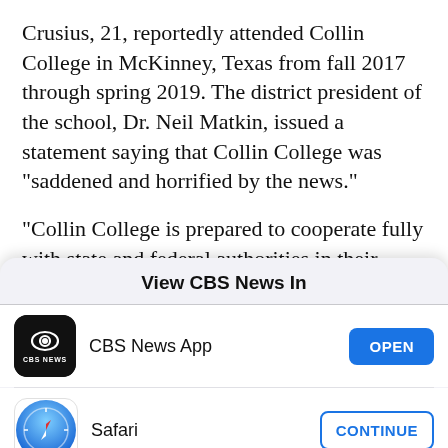Crusius, 21, reportedly attended Collin College in McKinney, Texas from fall 2017 through spring 2019. The district president of the school, Dr. Neil Matkin, issued a statement saying that Collin College was "saddened and horrified by the news."
"Collin College is prepared to cooperate fully with state and federal authorities in their investigation of this senseless tragedy. We join the governor and all
View CBS News In
[Figure (logo): CBS News app icon — black rounded square with CBS eye logo and 'CBS NEWS' text]
CBS News App
OPEN
[Figure (logo): Safari browser icon — blue compass circle with red needle]
Safari
CONTINUE